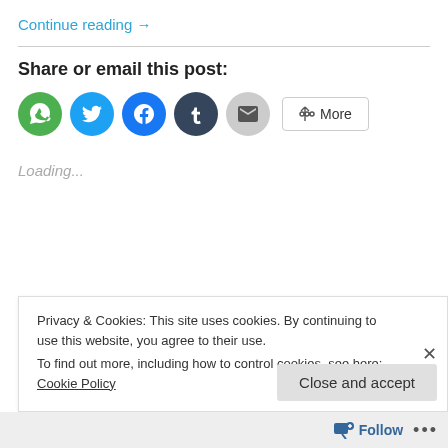Continue reading →
Share or email this post:
[Figure (infographic): Row of social share buttons: WhatsApp (green circle), Twitter (blue circle), Facebook (blue circle), Tumblr (dark circle), Email (grey circle), and a More button with share icon]
Loading...
Privacy & Cookies: This site uses cookies. By continuing to use this website, you agree to their use.
To find out more, including how to control cookies, see here: Cookie Policy
Close and accept
Follow ...